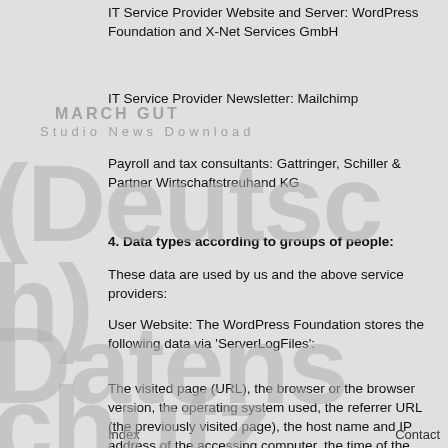IT Service Provider Website and Server: WordPress Foundation and X-Net Services GmbH
IT Service Provider Newsletter: Mailchimp
Payroll and tax consultants: Gattringer, Schiller & Partner Wirtschaftstreuhand KG
4. Data types according to groups of people:
These data are used by us and the above service providers:
User Website: The WordPress Foundation stores the following data via 'ServerLogFiles':
The visited page (URL), the browser or the browser version, the operating system used, the referrer URL (the previously visited page), the host name and IP address of the accessing computer, the time of the
Index                                                Contact